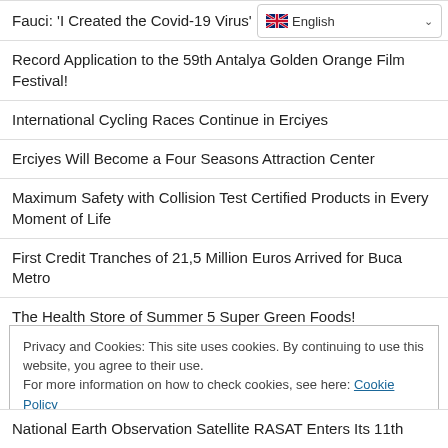[Figure (screenshot): Language selector dropdown showing English with UK flag]
Fauci: 'I Created the Covid-19 Virus'
Record Application to the 59th Antalya Golden Orange Film Festival!
International Cycling Races Continue in Erciyes
Erciyes Will Become a Four Seasons Attraction Center
Maximum Safety with Collision Test Certified Products in Every Moment of Life
First Credit Tranches of 21,5 Million Euros Arrived for Buca Metro
The Health Store of Summer 5 Super Green Foods!
Privacy and Cookies: This site uses cookies. By continuing to use this website, you agree to their use.
For more information on how to check cookies, see here: Cookie Policy
OK
National Earth Observation Satellite RASAT Enters Its 11th